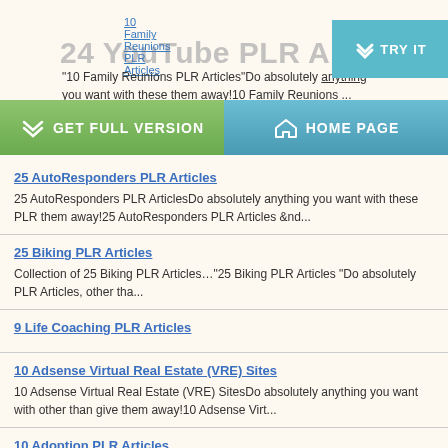10 Family Reunions PLR Articles
24 YouTube PLR Articles
"10 Family Reunions PLR Articles"Do absolutely anything you want with these them away!10 Family Reunions ...
GET FULL VERSION
HOME PAGE
25 AutoResponders PLR Articles
25 AutoResponders PLR ArticlesDo absolutely anything you want with these PLR them away!25 AutoResponders PLR Articles &nd...
25 Biking PLR Articles
Collection of 25 Biking PLR Articles…"25 Biking PLR Articles "Do absolutely PLR Articles, other tha...
9 Life Coaching PLR Articles
10 Adsense Virtual Real Estate (VRE) Sites
10 Adsense Virtual Real Estate (VRE) SitesDo absolutely anything you want with other than give them away!10 Adsense Virt...
10 Adoption PLR Articles